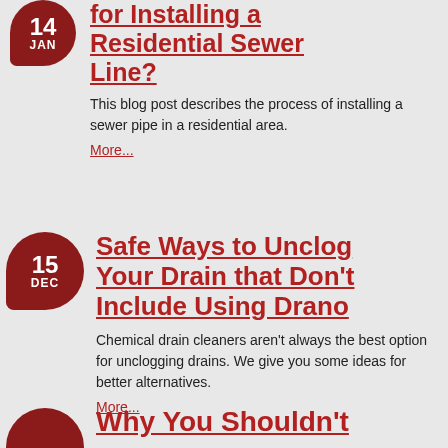for Installing a Residential Sewer Line?
This blog post describes the process of installing a sewer pipe in a residential area.
More...
Safe Ways to Unclog Your Drain that Don't Include Using Drano
Chemical drain cleaners aren't always the best option for unclogging drains. We give you some ideas for better alternatives.
More...
Why You Shouldn't